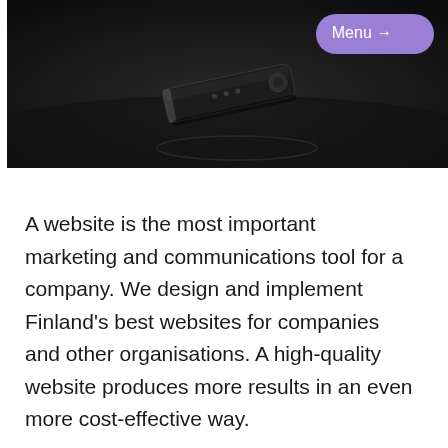[Figure (photo): Dark background photo showing a sleek remote control device on a dark surface, with a purple 'Menu →' navigation button overlay in the top right corner.]
A website is the most important marketing and communications tool for a company. We design and implement Finland's best websites for companies and other organisations. A high-quality website produces more results in an even more cost-effective way.